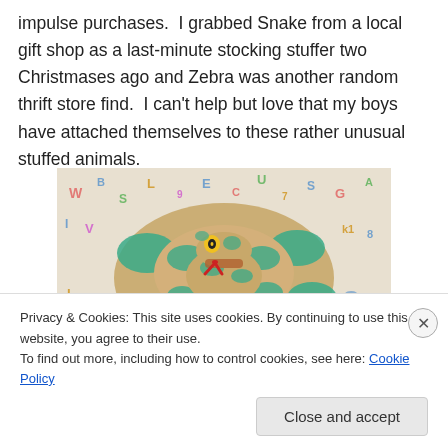impulse purchases.  I grabbed Snake from a local gift shop as a last-minute stocking stuffer two Christmases ago and Zebra was another random thrift store find.  I can't help but love that my boys have attached themselves to these rather unusual stuffed animals.
[Figure (photo): A coiled stuffed animal snake toy with teal/green and tan/yellow patterned fabric, yellow eyes, and a red tongue, resting on a colorful alphabet-print fabric background.]
Privacy & Cookies: This site uses cookies. By continuing to use this website, you agree to their use.
To find out more, including how to control cookies, see here: Cookie Policy